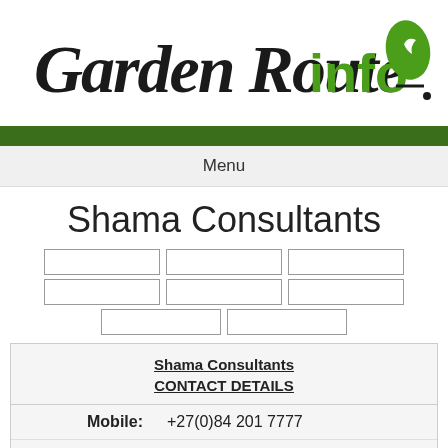[Figure (logo): Garden Route info logo with green leaf/bird icon]
Menu
Shama Consultants
[Figure (other): Navigation button grid with 8 empty buttons arranged in 3 rows]
|  |  |
| --- | --- |
| Mobile: | +27(0)84 201 7777 |
| E-mail: | info@shamaconsultants.co.za |
| Website: | www.shamaconsultants.co.za |
| Location: | George |